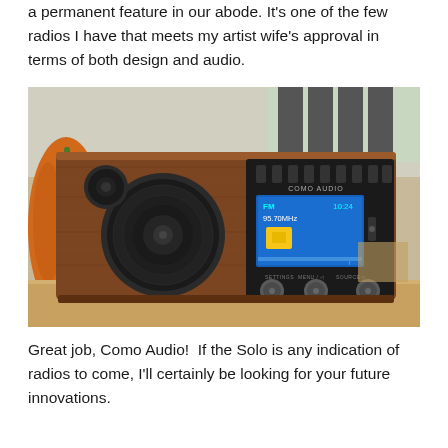a permanent feature in our abode. It's one of the few radios I have that meets my artist wife's approval in terms of both design and audio.
[Figure (photo): A wooden Como Audio Solo radio sitting on a desk. The radio has a walnut wood finish with a large round speaker on the left side and a smaller circular speaker. On the right side is a black control panel with a blue LCD screen displaying 'FM 95.70MHz' and time '10:24', along with several buttons and three rotary knobs at the bottom. The brand name 'COMO AUDIO' is visible on the panel.]
Great job, Como Audio!  If the Solo is any indication of radios to come, I'll certainly be looking for your future innovations.